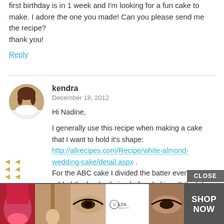first birthday is in 1 week and I'm looking for a fun cake to make. I adore the one you made! Can you please send me the recipe?
thank you!
Reply
kendra
December 18, 2012
Hi Nadine,
I generally use this recipe when making a cake that I want to hold it's shape:
http://allrecipes.com/Recipe/white-almond-wedding-cake/detail.aspx .
For the ABC cake I divided the batter evenly and added the food coloring before baking. (I think I probably made a double recipe). I used an 8 (?) inch square pan, and 4 layers were enough to make it a cube. I hope that helps.
Reply
[Figure (photo): Advertisement banner showing makeup/beauty images and Ulta logo with SHOP NOW button]
[Figure (photo): Avatar photo of kendra - woman with dark hair]